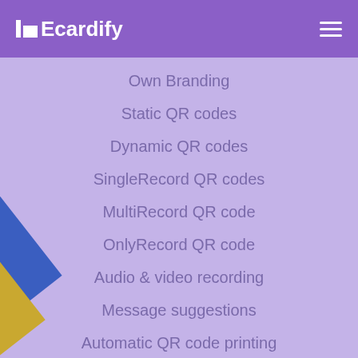!■Ecardify
Own Branding
Static QR codes
Dynamic QR codes
SingleRecord QR codes
MultiRecord QR code
OnlyRecord QR code
Audio & video recording
Message suggestions
Automatic QR code printing
Automatic Card printing
Internationalization